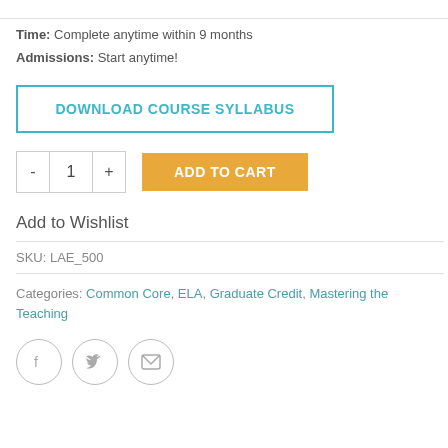TeacherStep
Time: Complete anytime within 9 months
Admissions: Start anytime!
DOWNLOAD COURSE SYLLABUS
- 1 + ADD TO CART
Add to Wishlist
SKU: LAE_500
Categories: Common Core, ELA, Graduate Credit, Mastering the Teaching